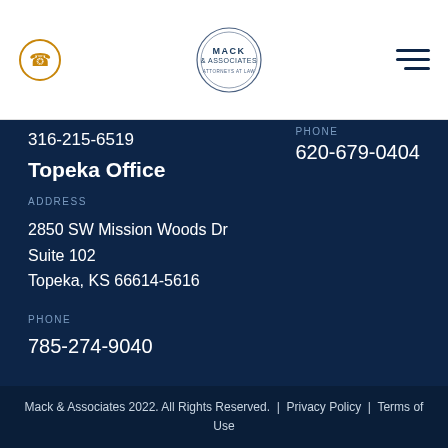[Figure (logo): Mack & Associates law firm logo with phone icon and hamburger menu navigation]
316-215-6519
PHONE
620-679-0404
Topeka Office
ADDRESS
2850 SW Mission Woods Dr
Suite 102
Topeka, KS 66614-5616
PHONE
785-274-9040
Mack & Associates 2022. All Rights Reserved.  |  Privacy Policy  |  Terms of Use